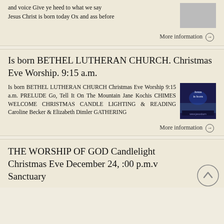and voice Give ye heed to what we say Jesus Christ is born today Ox and ass before
More information →
Is born BETHEL LUTHERAN CHURCH. Christmas Eve Worship. 9:15 a.m.
Is born BETHEL LUTHERAN CHURCH Christmas Eve Worship 9:15 a.m. PRELUDE Go, Tell It On The Mountain Jane Kochis CHIMES WELCOME CHRISTMAS CANDLE LIGHTING & READING Caroline Becker & Elizabeth Dimler GATHERING
More information →
THE WORSHIP OF GOD Candlelight Christmas Eve December 24, :00 p.m.v Sanctuary